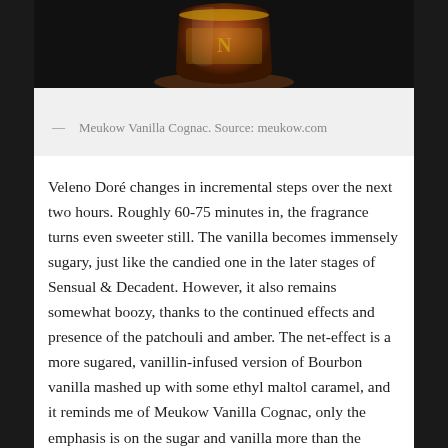[Figure (photo): Photo of Meukow Vanilla Cognac bottle against dark background]
— Meukow Vanilla Cognac. Source: meukow.com
Veleno Doré changes in incremental steps over the next two hours. Roughly 60-75 minutes in, the fragrance turns even sweeter still. The vanilla becomes immensely sugary, just like the candied one in the later stages of Sensual & Decadent. However, it also remains somewhat boozy, thanks to the continued effects and presence of the patchouli and amber. The net-effect is a more sugared, vanillin-infused version of Bourbon vanilla mashed up with some ethyl maltol caramel, and it reminds me of Meukow Vanilla Cognac, only the emphasis is on the sugar and vanilla more than the cognac. The sweetness makes me wince a little, but at least it's not as bombastic as the ten-decibel creme-caramel vanilla in fragrances like Profumum's Veritas. The tobacco keeps it in check from